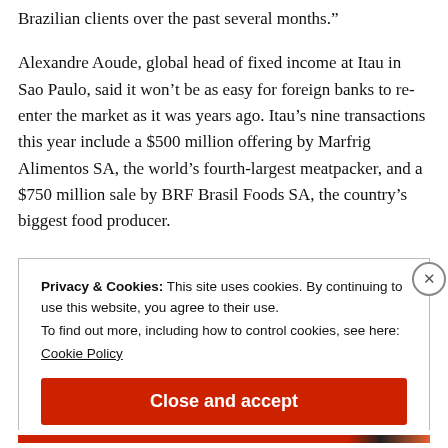Brazilian clients over the past several months.”
Alexandre Aoude, global head of fixed income at Itau in Sao Paulo, said it won’t be as easy for foreign banks to re-enter the market as it was years ago. Itau’s nine transactions this year include a $500 million offering by Marfrig Alimentos SA, the world’s fourth-largest meatpacker, and a $750 million sale by BRF Brasil Foods SA, the country’s biggest food producer.
Privacy & Cookies: This site uses cookies. By continuing to use this website, you agree to their use.
To find out more, including how to control cookies, see here:
Cookie Policy
[Close and accept button]